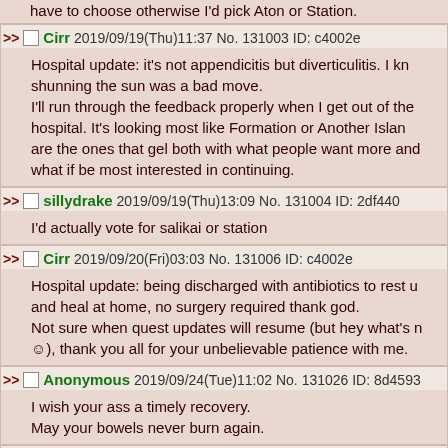have to choose otherwise I'd pick Aton or Station.
Cirr 2019/09/19(Thu)11:37 No. 131003 ID: c4002e
Hospital update: it's not appendicitis but diverticulitis. I kn shunning the sun was a bad move.
I'll run through the feedback properly when I get out of the hospital. It's looking most like Formation or Another Island are the ones that gel both with what people want more and what if be most interested in continuing.
sillydrake 2019/09/19(Thu)13:09 No. 131004 ID: 2df440
I'd actually vote for salikai or station
Cirr 2019/09/20(Fri)03:03 No. 131006 ID: c4002e
Hospital update: being discharged with antibiotics to rest u and heal at home, no surgery required thank god.
Not sure when quest updates will resume (but hey what's n ☺), thank you all for your unbelievable patience with me.
Anonymous 2019/09/24(Tue)11:02 No. 131026 ID: 8d4593
I wish your ass a timely recovery.
May your bowels never burn again.
Anonymous 2019/12/13(Fri)22:45 No. 131649 ID: ba56e6
File 157630595020.png - (111.90KB, 680x454, 157559907